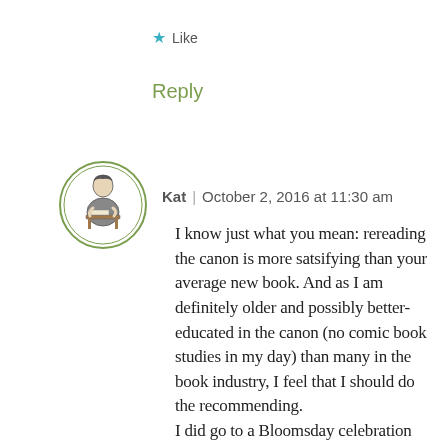★ Like
Reply
[Figure (illustration): Circular avatar icon with a vintage illustration of a woman sitting at a desk reading or writing]
Kat | October 2, 2016 at 11:30 am
I know just what you mean: rereading the canon is more satsifying than your average new book. And as I am definitely older and possibly better-educated in the canon (no comic book studies in my day) than many in the book industry, I feel that I should do the recommending.
I did go to a Bloomsday celebration